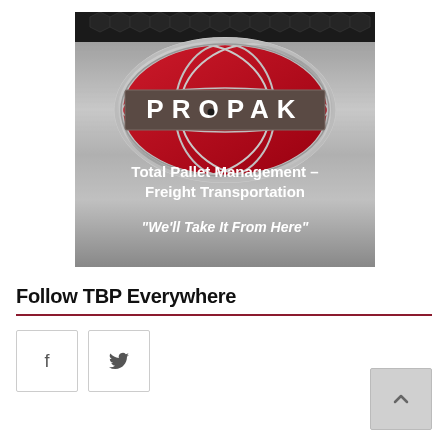[Figure (logo): PROPAK company logo advertisement on brushed metal background with red globe design. Text reads: Total Pallet Management – Freight Transportation. 'We'll Take It From Here']
Follow TBP Everywhere
[Figure (infographic): Social media icons: Facebook (f) and Twitter (bird) buttons, and a back-to-top arrow button on the right]